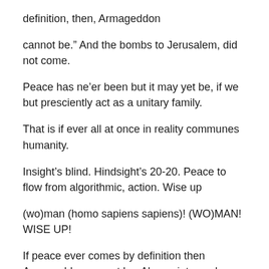definition, then, Armageddon
cannot be.” And the bombs to Jerusalem, did not come.
Peace has ne’er been but it may yet be, if we but presciently act as a unitary family.
That is if ever all at once in reality communes humanity.
Insight’s blind. Hindsight’s 20-20. Peace to flow from algorithmic, action. Wise up
(wo)man (homo sapiens sapiens)! (WO)MAN! WISE UP!
If peace ever comes by definition then Armageddon cannot be. Alas a riot may be,
funny or tragic. A right, alternative history, yet, may be.
Words to the wise among self named twice wise homo